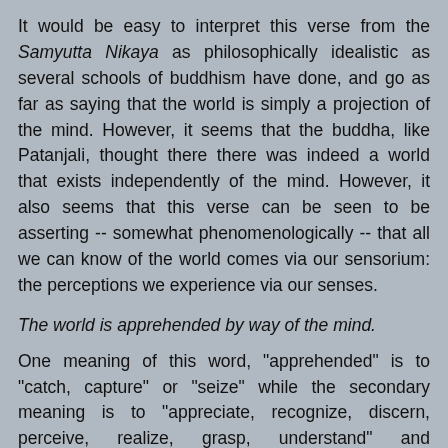It would be easy to interpret this verse from the Samyutta Nikaya as philosophically idealistic as several schools of buddhism have done, and go as far as saying that the world is simply a projection of the mind. However, it seems that the buddha, like Patanjali, thought there there was indeed a world that exists independently of the mind. However, it also seems that this verse can be seen to be asserting -- somewhat phenomenologically -- that all we can know of the world comes via our sensorium: the perceptions we experience via our senses.
The world is apprehended by way of the mind.
One meaning of this word, "apprehended" is to "catch, capture" or "seize" while the secondary meaning is to "appreciate, recognize, discern, perceive, realize, grasp, understand" and "comprehend." I would argue that while the